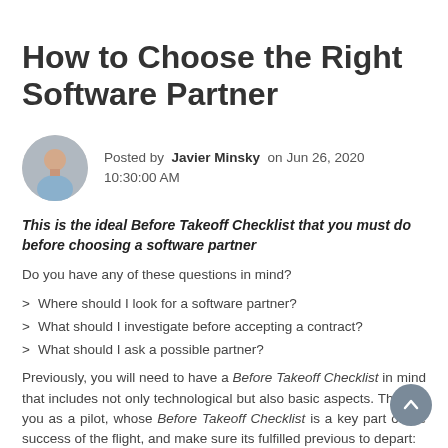How to Choose the Right Software Partner
[Figure (photo): Circular headshot of a man in a light blue shirt, with an office background.]
Posted by  Javier Minsky  on Jun 26, 2020 10:30:00 AM
This is the ideal Before Takeoff Checklist that you must do before choosing a software partner
Do you have any of these questions in mind?
Where should I look for a software partner?
What should I investigate before accepting a contract?
What should I ask a possible partner?
Previously, you will need to have a Before Takeoff Checklist in mind that includes not only technological but also basic aspects. Think of you as a pilot, whose Before Takeoff Checklist is a key part of the success of the flight, and make sure its fulfilled previous to depart: